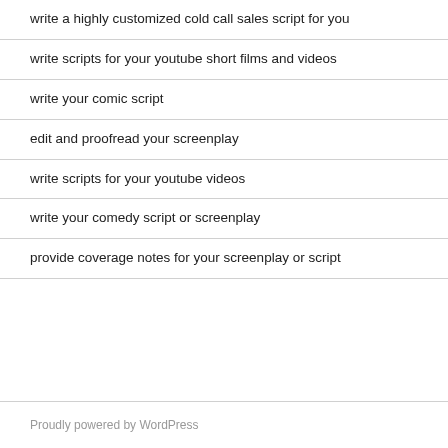write a highly customized cold call sales script for you
write scripts for your youtube short films and videos
write your comic script
edit and proofread your screenplay
write scripts for your youtube videos
write your comedy script or screenplay
provide coverage notes for your screenplay or script
Proudly powered by WordPress